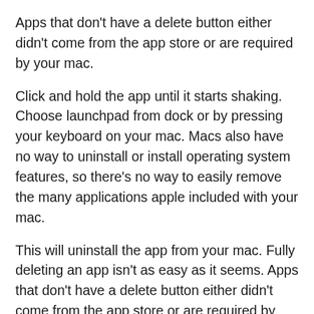Apps that don't have a delete button either didn't come from the app store or are required by your mac.
Click and hold the app until it starts shaking. Choose launchpad from dock or by pressing your keyboard on your mac. Macs also have no way to uninstall or install operating system features, so there's no way to easily remove the many applications apple included with your mac.
This will uninstall the app from your mac. Fully deleting an app isn't as easy as it seems. Apps that don't have a delete button either didn't come from the app store or are required by your mac.
Modify the files under the mounted directory. In this example, i will be. Remove default applications using the following command: